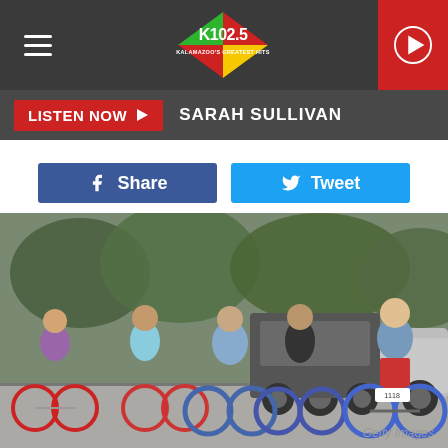K102.5 radio station header with hamburger menu and play button
LISTEN NOW ▶  SARAH SULLIVAN
Share  Tweet
[Figure (photo): Group of people riding bicycles at an intersection in an urban area, with cars stopped behind them. Trees visible in background. A man in a Berlin t-shirt and red shorts leads on the right.]
Getty Images